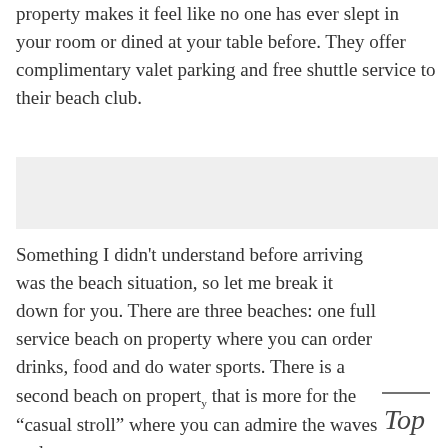property makes it feel like no one has ever slept in your room or dined at your table before. They offer complimentary valet parking and free shuttle service to their beach club.
[Figure (photo): Light gray placeholder image block]
Something I didn't understand before arriving was the beach situation, so let me break it down for you. There are three beaches: one full service beach on property where you can order drinks, food and do water sports. There is a second beach on property that is more for the “casual stroll” where you can admire the waves and